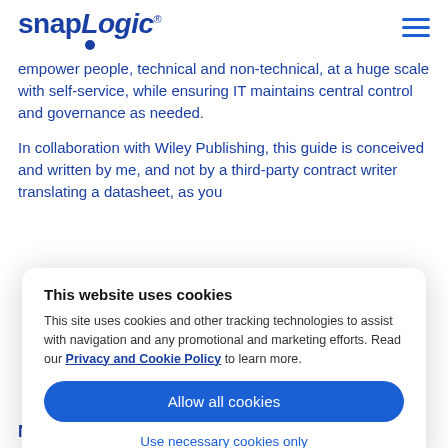snapLogic
empower people, technical and non-technical, at a huge scale with self-service, while ensuring IT maintains central control and governance as needed.
In collaboration with Wiley Publishing, this guide is conceived and written by me, and not by a third-party contract writer translating a datasheet, as you
This website uses cookies
This site uses cookies and other tracking technologies to assist with navigation and any promotional and marketing efforts. Read our Privacy and Cookie Policy to learn more.
Allow all cookies
Use necessary cookies only
Next steps